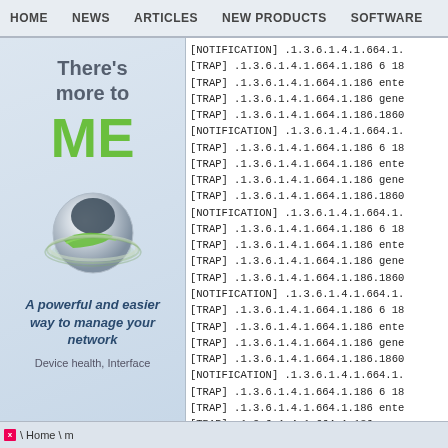HOME  NEWS  ARTICLES  NEW PRODUCTS  SOFTWARE
[Figure (illustration): Advertisement panel: 'There's more to ME' with green ME text and a globe/sphere graphic. Tagline: 'A powerful and easier way to manage your network'. Sub-text: 'Device health, Interface']
[NOTIFICATION] .1.3.6.1.4.1.664.1.
[TRAP] .1.3.6.1.4.1.664.1.186 6 18
[TRAP] .1.3.6.1.4.1.664.1.186 ente
[TRAP] .1.3.6.1.4.1.664.1.186 gene
[TRAP] .1.3.6.1.4.1.664.1.186.1860
[NOTIFICATION] .1.3.6.1.4.1.664.1.
[TRAP] .1.3.6.1.4.1.664.1.186 6 18
[TRAP] .1.3.6.1.4.1.664.1.186 ente
[TRAP] .1.3.6.1.4.1.664.1.186 gene
[TRAP] .1.3.6.1.4.1.664.1.186.1860
[NOTIFICATION] .1.3.6.1.4.1.664.1.
[TRAP] .1.3.6.1.4.1.664.1.186 6 18
[TRAP] .1.3.6.1.4.1.664.1.186 ente
[TRAP] .1.3.6.1.4.1.664.1.186 gene
[TRAP] .1.3.6.1.4.1.664.1.186.1860
[NOTIFICATION] .1.3.6.1.4.1.664.1.
[TRAP] .1.3.6.1.4.1.664.1.186 6 18
[TRAP] .1.3.6.1.4.1.664.1.186 ente
[TRAP] .1.3.6.1.4.1.664.1.186 gene
[TRAP] .1.3.6.1.4.1.664.1.186.1860
[NOTIFICATION] .1.3.6.1.4.1.664.1.
[TRAP] .1.3.6.1.4.1.664.1.186 6 18
[TRAP] .1.3.6.1.4.1.664.1.186 ente
[TRAP] .1.3.6.1.4.1.664.1.186 gene
[OID] .1.3.6.1.4.1.664.2.186
\  \ Home \ m